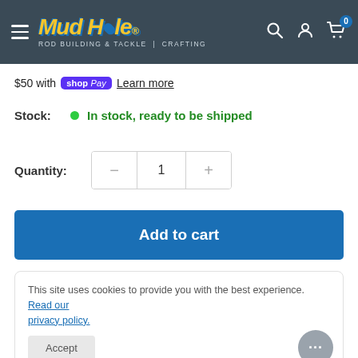[Figure (logo): Mud Hole Rod Building & Tackle Crafting logo with hamburger menu icon on dark slate header, plus search, account, and cart icons on the right]
$50 with shop Pay Learn more
Stock: • In stock, ready to be shipped
Quantity: − 1 +
Add to cart
This site uses cookies to provide you with the best experience. Read our privacy policy.
Accept